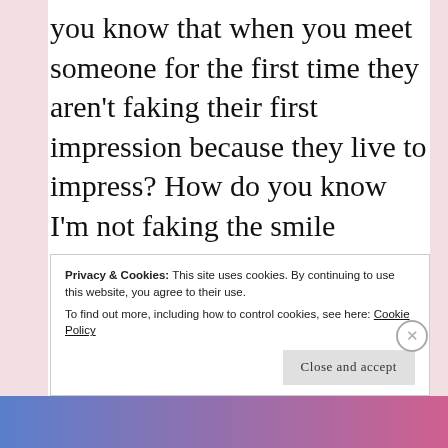you know that when you meet someone for the first time they aren't faking their first impression because they live to impress? How do you know I'm not faking the smile plastered on my face as I laugh at something you say while we shake hands as we're introduced? I leave you a good lasting first impression, but
Privacy & Cookies: This site uses cookies. By continuing to use this website, you agree to their use.
To find out more, including how to control cookies, see here: Cookie Policy
Close and accept